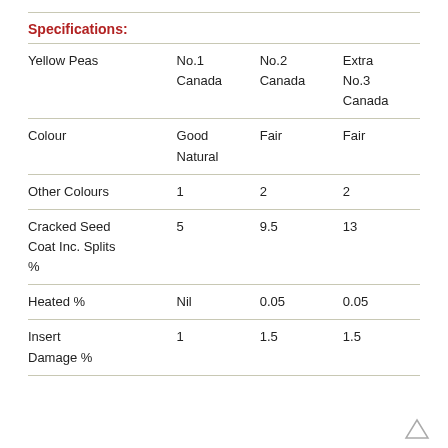Specifications:
|  | No.1 Canada | No.2 Canada | Extra No.3 Canada |
| --- | --- | --- | --- |
| Yellow Peas | No.1
Canada | No.2
Canada | Extra
No.3
Canada |
| Colour | Good Natural | Fair | Fair |
| Other Colours | 1 | 2 | 2 |
| Cracked Seed Coat Inc. Splits % | 5 | 9.5 | 13 |
| Heated % | Nil | 0.05 | 0.05 |
| Insert Damage % | 1 | 1.5 | 1.5 |